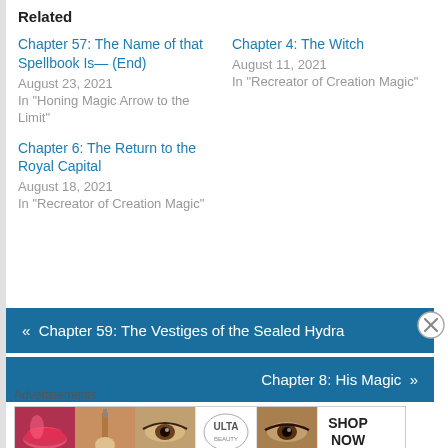Related
Chapter 57: The Name of that Spellbook Is— (End)
August 23, 2021
In "Honing Magic Arrow to the Limit"
Chapter 4: The Witch
August 11, 2021
In "Recreator of Creation Magic"
Chapter 6: The Return to the Royal Capital
August 18, 2021
In "Recreator of Creation Magic"
« Chapter 59: The Vestiges of the Sealed Hydra
Chapter 8: His Magic »
Advertisements
[Figure (photo): Ulta Beauty advertisement banner with makeup images showing lips, brush, eye, Ulta logo, eye, and Shop Now call to action]